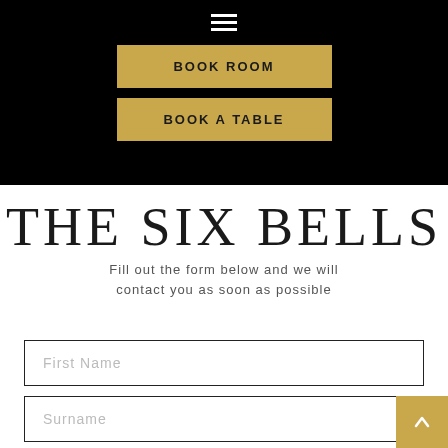[Figure (screenshot): Black navigation header with hamburger menu icon (three white horizontal lines)]
BOOK ROOM
BOOK A TABLE
THE SIX BELLS
Fill out the form below and we will contact you as soon as possible
First Name
Surname